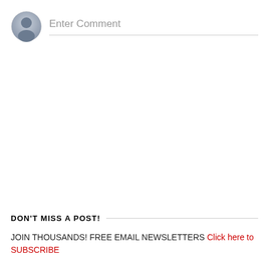[Figure (other): User avatar icon — grey silhouette of a person in a circular frame with gradient]
Enter Comment
DON'T MISS A POST!
JOIN THOUSANDS! FREE EMAIL NEWSLETTERS Click here to SUBSCRIBE